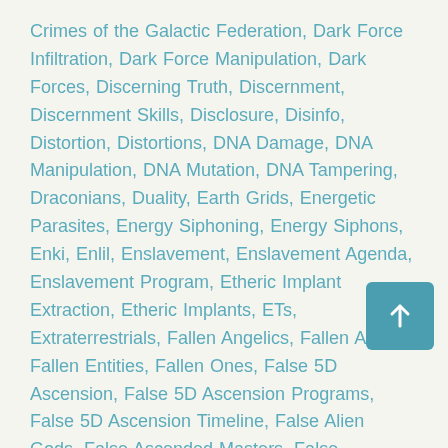Crimes of the Galactic Federation, Dark Force Infiltration, Dark Force Manipulation, Dark Forces, Discerning Truth, Discernment, Discernment Skills, Disclosure, Disinfo, Distortion, Distortions, DNA Damage, DNA Manipulation, DNA Mutation, DNA Tampering, Draconians, Duality, Earth Grids, Energetic Parasites, Energy Siphoning, Energy Siphons, Enki, Enlil, Enslavement, Enslavement Agenda, Enslavement Program, Etheric Implant Extraction, Etheric Implants, ETs, Extraterrestrials, Fallen Angelics, Fallen Angels, Fallen Entities, Fallen Ones, False 5D Ascension, False 5D Ascension Programs, False 5D Ascension Timeline, False Alien Gods, False Ascended Masters, False Ascension, False Ascension Matrix, False Ascension Timelines, False Beliefs, False Benevolent ETs, False Channeled Messages, False Emerald Tablets, False Fronts, False God Matrix, False Gods, False Guides, False King of Tyranny, False Light, False Light Matrix, False Light Reincarnation, False Spirit Guides, False Spiritual Guidance, False Spiritual Guides, False Timelines, Final Battle, Freeing Humanity, Freemasons, Frequency NETS, Galactic